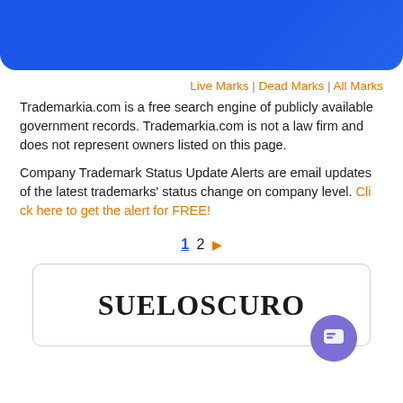[Figure (other): Blue gradient banner at top of page]
Live Marks | Dead Marks | All Marks
Trademarkia.com is a free search engine of publicly available government records. Trademarkia.com is not a law firm and does not represent owners listed on this page.
Company Trademark Status Update Alerts are email updates of the latest trademarks' status change on company level. Click here to get the alert for FREE!
1 2 ▶
[Figure (other): Trademark card showing the trademark name SUELOSCURO in bold serif font, with a purple chat bubble icon at bottom right]